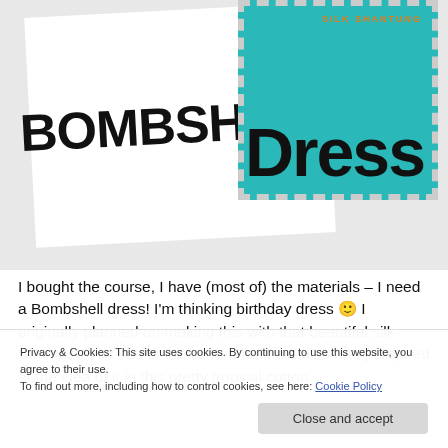[Figure (illustration): Header image showing two overlapping design cards: a white card with 'BOMBSHELL' in large black font, and a teal/turquoise stamp-style card with 'dress' in large font and 'SILK SHANTUNG' label. A purple flower is visible between the cards.]
I bought the course, I have (most of) the materials – I need a Bombshell dress! I'm thinking birthday dress 🙂 I originally planned on making this with that beautiful silk Shantung you see in the corner, but I am also really inspired at the idea of it in this pretty tropical cotton.
Side question: my local fabric store doesn't carry spiral
Privacy & Cookies: This site uses cookies. By continuing to use this website, you agree to their use.
To find out more, including how to control cookies, see here: Cookie Policy